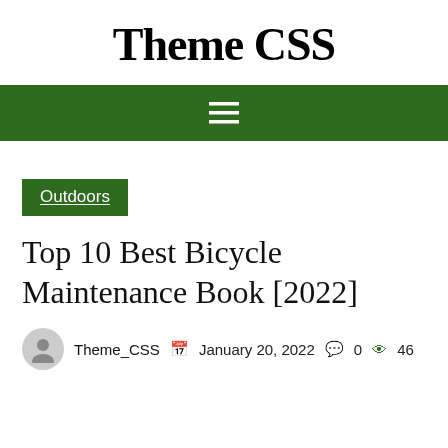Theme CSS
[Figure (other): Green navigation bar with hamburger menu icon (three horizontal white lines)]
Outdoors
Top 10 Best Bicycle Maintenance Book [2022]
Theme_CSS  January 20, 2022  0  46